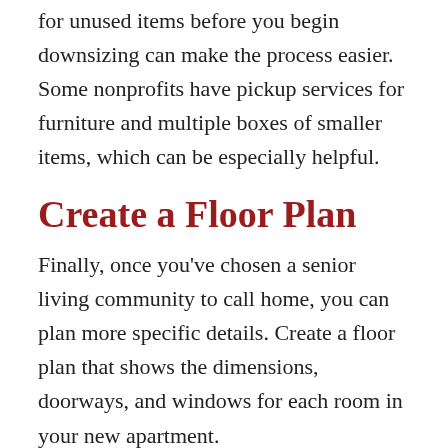for unused items before you begin downsizing can make the process easier. Some nonprofits have pickup services for furniture and multiple boxes of smaller items, which can be especially helpful.
Create a Floor Plan
Finally, once you've chosen a senior living community to call home, you can plan more specific details. Create a floor plan that shows the dimensions, doorways, and windows for each room in your new apartment.
Measure each piece of furniture or household item you'd like to take with you.